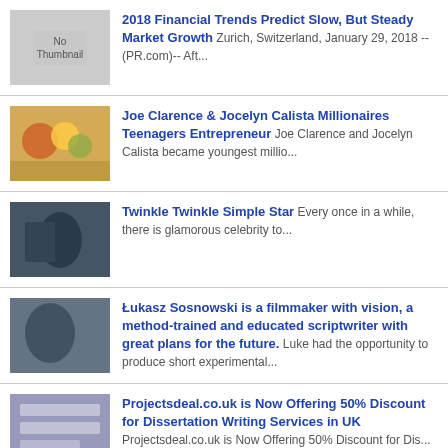2018 Financial Trends Predict Slow, But Steady Market Growth Zurich, Switzerland, January 29, 2018 --(PR.com)-- Aft...
Joe Clarence & Jocelyn Calista Millionaires Teenagers Entrepreneur Joe Clarence and Jocelyn Calista became youngest millio...
Twinkle Twinkle Simple Star Every once in a while, there is glamorous celebrity to...
Łukasz Sosnowski is a filmmaker with vision, a method-trained and educated scriptwriter with great plans for the future. Luke had the opportunity to produce short experimental...
Projectsdeal.co.uk is Now Offering 50% Discount for Dissertation Writing Services in UK Projectsdeal.co.uk is Now Offering 50% Discount for Dis...
Zero Gravity Airliner for the Common